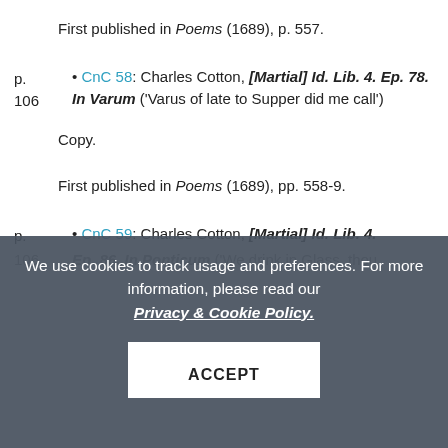First published in Poems (1689), p. 557.
• CnC 58: Charles Cotton, [Martial] Id. Lib. 4. Ep. 78. In Varum ('Varus of late to Supper did me call')
Copy.
First published in Poems (1689), pp. 558-9.
• CnC 59: Charles Cotton, [Martial] Id. Lib. 4. Ep. 86. In Ponticum ('We drink in Glass, thou say'st...')
Copy.
First published in Poems (1689), p. 559.
We use cookies to track usage and preferences. For more information, please read our Privacy & Cookie Policy.